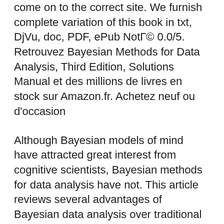come on to the correct site. We furnish complete variation of this book in txt, DjVu, doc, PDF, ePub NotГ© 0.0/5. Retrouvez Bayesian Methods for Data Analysis, Third Edition, Solutions Manual et des millions de livres en stock sur Amazon.fr. Achetez neuf ou d'occasion
Although Bayesian models of mind have attracted great interest from cognitive scientists, Bayesian methods for data analysis have not. This article reviews several advantages of Bayesian data analysis over traditional null-hypothesis significance testing. Bayesian Methods For Data Analysis Third Edition Solutions Manual Bayesian methods provide an alternative approach to data analysis,